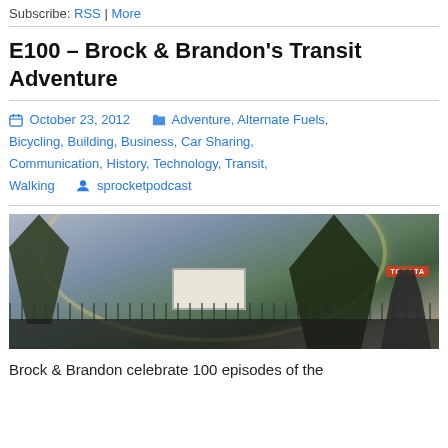Subscribe: RSS | More
E100 – Brock & Brandon's Transit Adventure
October 23, 2012   Adventure, Alternate Fuels, Bicycling, Building, Business, Car Sharing, Communication, History, Technology, Transit, Walking   sprocketpodcast
[Figure (photo): Outdoor photo showing a rainbow arc over a parking lot with trees, a billboard, a Toyota sign, a fence, cars, and a person wearing headphones in the foreground on the right side.]
Brock & Brandon celebrate 100 episodes of the